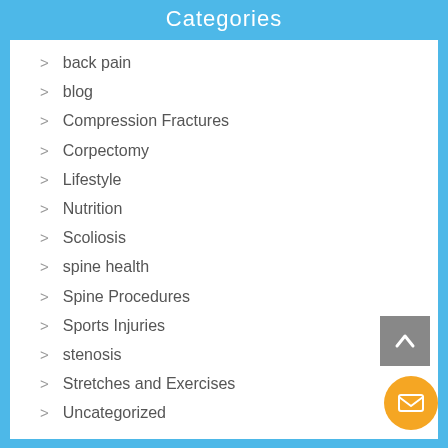Categories
back pain
blog
Compression Fractures
Corpectomy
Lifestyle
Nutrition
Scoliosis
spine health
Spine Procedures
Sports Injuries
stenosis
Stretches and Exercises
Uncategorized